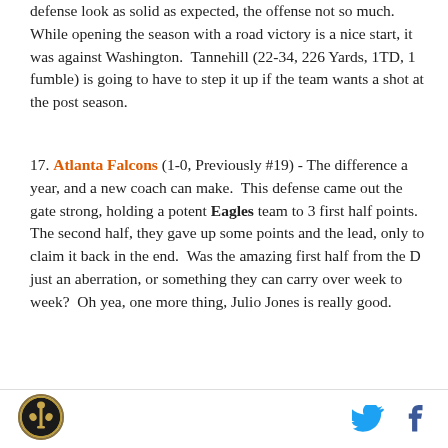defense look as solid as expected, the offense not so much. While opening the season with a road victory is a nice start, it was against Washington. Tannehill (22-34, 226 Yards, 1TD, 1 fumble) is going to have to step it up if the team wants a shot at the post season.
17. Atlanta Falcons (1-0, Previously #19) - The difference a year, and a new coach can make. This defense came out the gate strong, holding a potent Eagles team to 3 first half points. The second half, they gave up some points and the lead, only to claim it back in the end. Was the amazing first half from the D just an aberration, or something they can carry over week to week? Oh yea, one more thing, Julio Jones is really good.
[Figure (logo): Circular sports logo with fleur-de-lis symbol, black and gold]